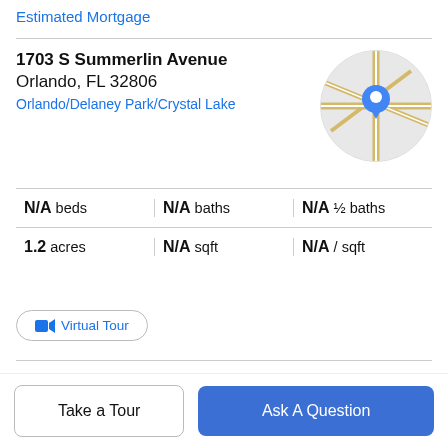Estimated Mortgage
1703 S Summerlin Avenue
Orlando, FL 32806
Orlando/Delaney Park/Crystal Lake
[Figure (map): Circular map thumbnail showing street map with a blue location pin marker]
| column1 | column2 | column3 |
| --- | --- | --- |
| N/A beds | N/A baths | N/A ½ baths |
| 1.2 acres | N/A sqft | N/A / sqft |
Virtual Tour
Property Description
LAKEFRONT! Come build your Dream on beautiful Lake Lancaster. Nestled on the Shaded Oak Tree lined South
very rarely will a lakefront home in this neighborhood
Take a Tour
Ask A Question